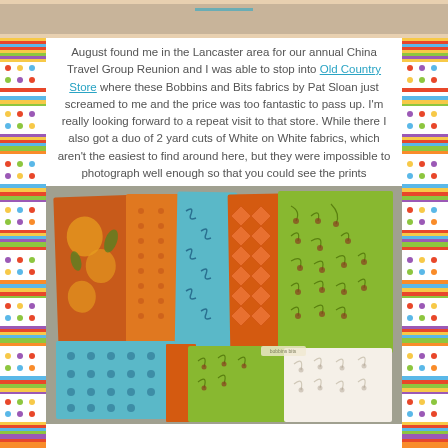Crayon Box Quilt Studio
August found me in the Lancaster area for our annual China Travel Group Reunion and I was able to stop into Old Country Store where these Bobbins and Bits fabrics by Pat Sloan just screamed to me and the price was too fantastic to pass up. I'm really looking forward to a repeat visit to that store. While there I also got a duo of 2 yard cuts of White on White fabrics, which aren't the easiest to find around here, but they were impossible to photograph well enough so that you could see the prints
[Figure (photo): Photo of colorful quilting fabrics fanned out on a gray surface, showing orange floral, striped, teal, orange geometric, and green patterned fabrics, with white fabrics visible below]